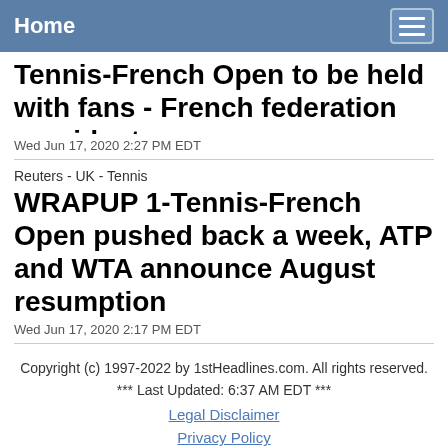Home
Tennis-French Open to be held with fans - French federation president
Wed Jun 17, 2020 2:27 PM EDT
Reuters - UK - Tennis
WRAPUP 1-Tennis-French Open pushed back a week, ATP and WTA announce August resumption
Wed Jun 17, 2020 2:17 PM EDT
Copyright (c) 1997-2022 by 1stHeadlines.com. All rights reserved.
*** Last Updated: 6:37 AM EDT ***
Legal Disclaimer
Privacy Policy
Contact 1stHeadlines